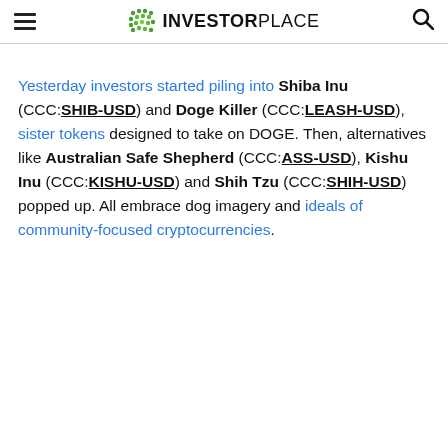InvestorPlace
Yesterday investors started piling into Shiba Inu (CCC:SHIB-USD) and Doge Killer (CCC:LEASH-USD), sister tokens designed to take on DOGE. Then, alternatives like Australian Safe Shepherd (CCC:ASS-USD), Kishu Inu (CCC:KISHU-USD) and Shih Tzu (CCC:SHIH-USD) popped up. All embrace dog imagery and ideals of community-focused cryptocurrencies.